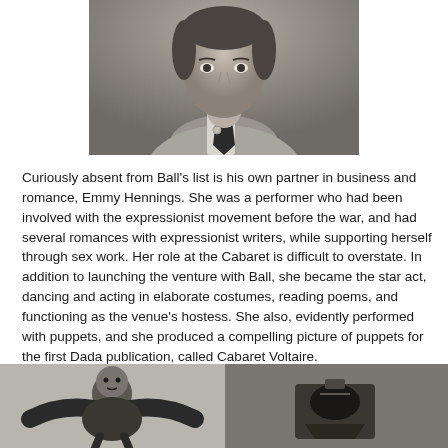[Figure (photo): Black and white portrait photograph of a person wearing a sweater and dark tie, cropped at shoulders/chest level.]
Curiously absent from Ball's list is his own partner in business and romance, Emmy Hennings.  She was a performer who had been involved with the expressionist movement before the war, and had several romances with expressionist writers, while supporting herself through sex work.   Her role at the Cabaret is difficult to overstate.  In addition to launching the venture with Ball, she became the star act, dancing and acting in elaborate costumes, reading poems, and functioning as the venue's hostess.  She also, evidently performed with puppets, and she produced a compelling picture of puppets for the first Dada publication, called Cabaret Voltaire.
[Figure (photo): Black and white photograph on the left showing a person in an elaborate costume or performance attire.]
[Figure (photo): Black and white photograph on the right showing a dark, somewhat abstract image.]